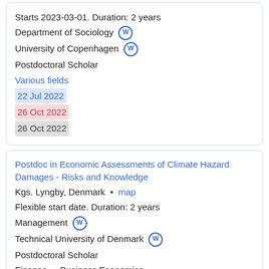Starts 2023-03-01. Duration: 2 years
Department of Sociology [W]
University of Copenhagen [W]
Postdoctoral Scholar
Various fields
22 Jul 2022
26 Oct 2022
26 Oct 2022
Postdoc in Economic Assessments of Climate Hazard Damages - Risks and Knowledge
Kgs. Lyngby, Denmark • map
Flexible start date. Duration: 2 years
Management [W]
Technical University of Denmark [W]
Postdoctoral Scholar
Finance • Business Economics